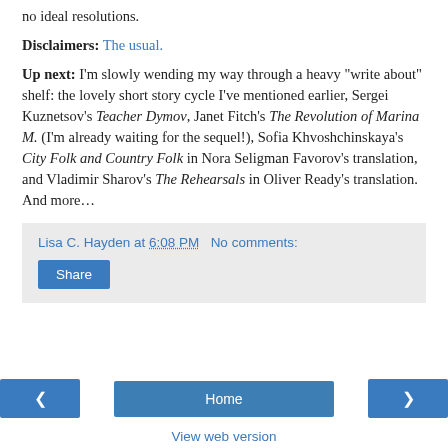no ideal resolutions.
Disclaimers: The usual.
Up next: I’m slowly wending my way through a heavy “write about” shelf: the lovely short story cycle I’ve mentioned earlier, Sergei Kuznetsov’s Teacher Dymov, Janet Fitch’s The Revolution of Marina M. (I’m already waiting for the sequel!), Sofia Khvoshchinskaya’s City Folk and Country Folk in Nora Seligman Favorov’s translation, and Vladimir Sharov’s The Rehearsals in Oliver Ready’s translation. And more…
Lisa C. Hayden at 6:08 PM   No comments:
Share
Home
View web version